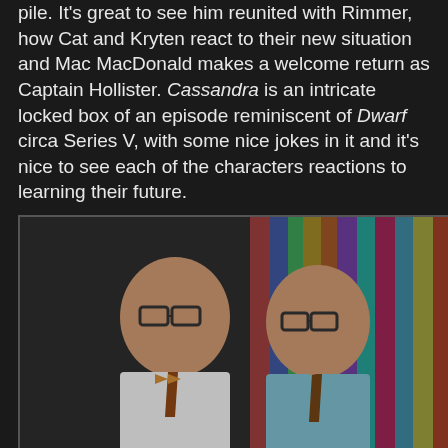pile. It's great to see him reunited with Rimmer, how Cat and Kryten react to their new situation and Mac MacDonald makes a welcome return as Captain Hollister. Cassandra is an intricate locked box of an episode reminiscent of Dwarf circa Series V, with some nice jokes in it and it's nice to see each of the characters reactions to learning their future.
[Figure (photo): Two men wearing glasses and ties standing close together, appearing to be characters from The League of Gentlemen, in front of a colorful background.]
The League Of Gentlemen: Welcome To Royston Vasey; The Road To Royston Vasey; Nightmare In Royston Vasey; The Beast Of Royston Vasey; Love Comes To Royston Vasey; Escape From Royston Vasey
Mark Gatiss, Steve Pemberton and Reece Shearsmith prove themselves to be three of the country's best actors as their sketch show meets sitcom comes to television. The dark comedy world of Royston Vasey is brilliantly brought to life in Welcome To Royston Vasey: from its fantastic opening joke with the wonderful Frances Cox, Benjamin visiting the